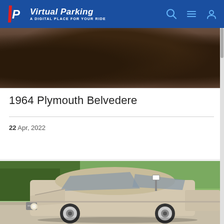Virtual Parking – A DIGITAL PLACE FOR YOUR RIDE
[Figure (photo): Close-up top-down photo of dark gravel or asphalt road surface]
1964 Plymouth Belvedere
22 Apr, 2022
[Figure (photo): 1964 Plymouth Belvedere, beige/tan two-door hardtop, parked on a driveway with cornfields and green fields in the background]